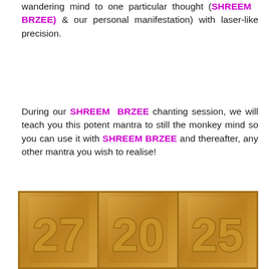wandering mind to one particular thought (SHREEM BRZEE) & our personal manifestation) with laser-like precision.

During our SHREEM BRZEE chanting session, we will teach you this potent mantra to still the monkey mind so you can use it with SHREEM BRZEE and thereafter, any other mantra you wish to realise!
[Figure (photo): Wooden panel with three carved number tiles showing 27, 20, 25 in gold/tan relief on a warm brown wooden background.]